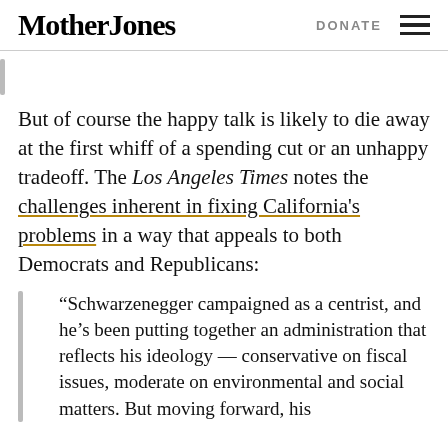Mother Jones | DONATE
But of course the happy talk is likely to die away at the first whiff of a spending cut or an unhappy tradeoff. The Los Angeles Times notes the challenges inherent in fixing California's problems in a way that appeals to both Democrats and Republicans:
“Schwarzenegger campaigned as a centrist, and he’s been putting together an administration that reflects his ideology — conservative on fiscal issues, moderate on environmental and social matters. But moving forward, his